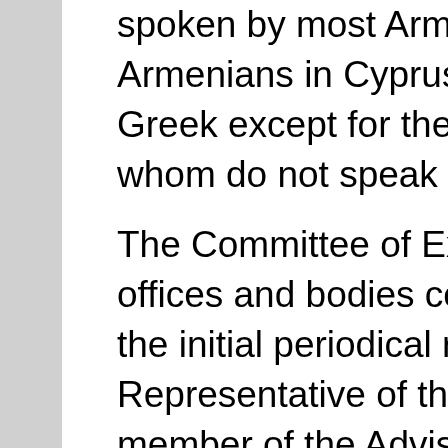spoken by most Armenians of the Diaspora. All Armenians in Cyprus are bilingual in Armenian and Greek except for the recent immigrants, most of whom do not speak Greek.
The Committee of Experts was informed that the offices and bodies consulted on the preparation of the initial periodical report were the Parliamentary Representative of the Armenian Religious Group, a member of the Advisory Committee to the Armenian Representative and representatives of the Armenian primary and secondary schools. Armenian non-governmental organisations were not consulted in connection with the preparation of the initial periodical report.